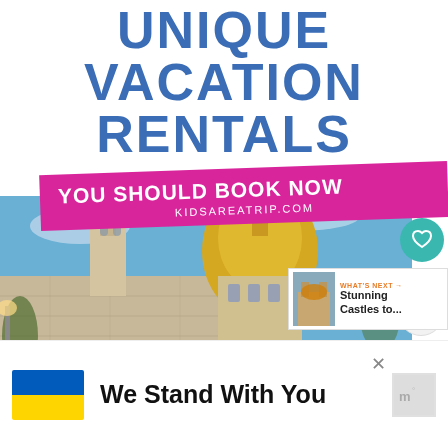UNIQUE VACATION RENTALS
[Figure (infographic): Pink banner overlay reading YOU SHOULD BOOK NOW with KIDSAREATRIP.COM below, overlaid on a photo of a colonial city rooftop terrace with yellow-domed church in background. Social media UI elements: heart button, 627 count, share button, and a What's Next thumbnail for Stunning Castles to...]
[Figure (infographic): Bottom advertisement banner with Ukraine flag (blue and yellow), text We Stand With You, close X button, and a gray logo placeholder]
KIDSAREATRIP.COM
YOU SHOULD BOOK NOW
627
WHAT'S NEXT → Stunning Castles to...
We Stand With You